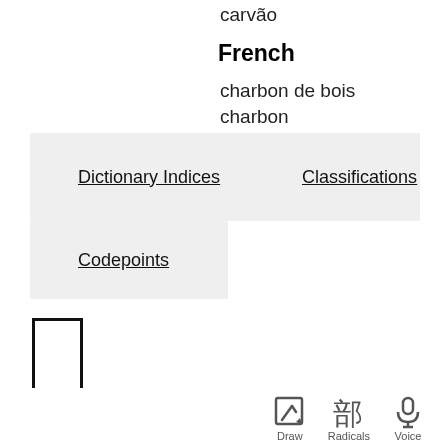carvão
French
charbon de bois
charbon
Dictionary Indices
Classifications
Codepoints
[Figure (screenshot): Bottom navigation bar with Draw, Radicals, and Voice icons]
[Figure (other): Kanji character display box outline]